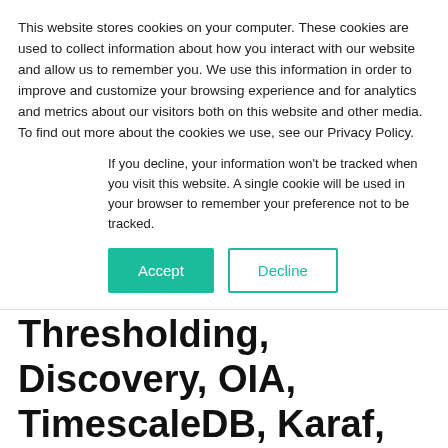This website stores cookies on your computer. These cookies are used to collect information about how you interact with our website and allow us to remember you. We use this information in order to improve and customize your browsing experience and for analytics and metrics about our visitors both on this website and other media. To find out more about the cookies we use, see our Privacy Policy.
If you decline, your information won't be tracked when you visit this website. A single cookie will be used in your browser to remember your preference not to be tracked.
Accept
Decline
Thresholding, Discovery, OIA, TimescaleDB, Karaf, Twin API, Provisioning, Vue, Geomap, Helm
Sorry for the missing OOH last week… I was really busy for some reason.